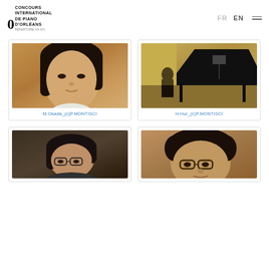CONCOURS INTERNATIONAL DE PIANO D'ORLÉANS | FR EN
[Figure (photo): Portrait photo of pianist M. Okada, young Asian woman with dark hair, warm brown background]
M.Okada_(c)P.MONTISCI
[Figure (photo): Photo of pianist H. Hur at piano on concert stage, grand piano visible, ornate hall background]
H.Hur_(c)P.MONTISCI
[Figure (photo): Photo of pianist with glasses leaning forward, dark clothing, dark background]
[Figure (photo): Close-up photo of pianist with glasses and curly dark hair, warm skin tones]